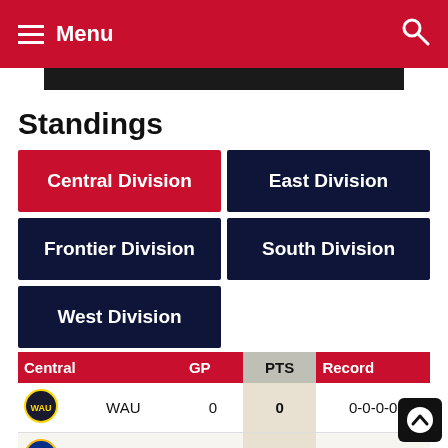Menu
Standings
| Central | GP | PTS | Record |
| --- | --- | --- | --- |
| WAU | 0 | 0 | 0-0-0-0 |
| STL | 0 | 0 | 0-0-0-0 |
| ROC | 0 | 0 | 0-0-0-0 |
| MKE | 0 | 0 | 0-0-0-0 |